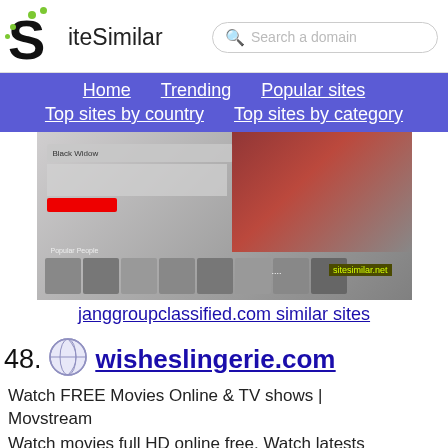[Figure (logo): SiteSimilar logo with stylized S and green dots]
Search a domain
Home  Trending  Popular sites  Top sites by country  Top sites by category
[Figure (screenshot): Screenshot of a movie streaming website showing Black Widow content and popular people section, with sitesimilar.net watermark]
janggroupclassified.com similar sites
48.
[Figure (logo): Globe/internet icon]
wisheslingerie.com
Watch FREE Movies Online & TV shows | Movstream
Watch movies full HD online free. Watch latests